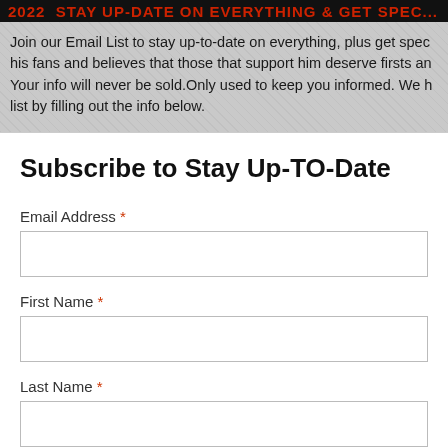STAY UP-DATE ON EVERYTHING & GET SPECIAL...
Join our Email List to stay up-to-date on everything, plus get spec his fans and believes that those that support him deserve firsts an Your info will never be sold.Only used to keep you informed. We h list by filling out the info below.
Subscribe to Stay Up-TO-Date
Email Address *
First Name *
Last Name *